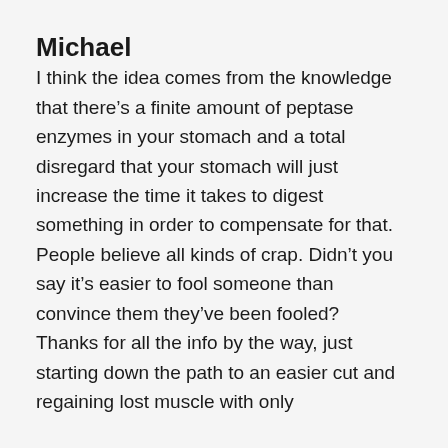Michael
I think the idea comes from the knowledge that there’s a finite amount of peptase enzymes in your stomach and a total disregard that your stomach will just increase the time it takes to digest something in order to compensate for that. People believe all kinds of crap. Didn’t you say it’s easier to fool someone than convince them they’ve been fooled?
Thanks for all the info by the way, just starting down the path to an easier cut and regaining lost muscle with only